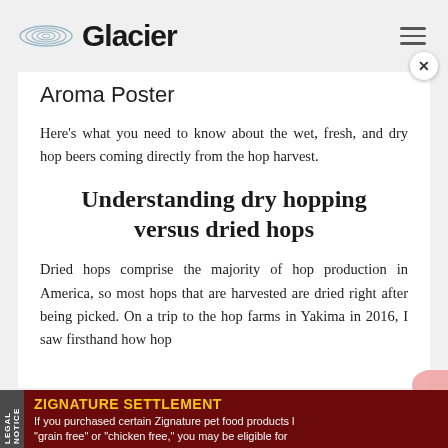Glacier
Aroma Poster
Here's what you need to know about the wet, fresh, and dry hop beers coming directly from the hop harvest.
Understanding dry hopping versus dried hops
Dried hops comprise the majority of hop production in America, so most hops that are harvested are dried right after being picked. On a trip to the hop farms in Yakima in 2016, I saw firsthand how hop
ZIGNATURE SETTLEMENT
If you purchased certain Zignature pet food products labeled "grain free" or "chicken free," you may be eligible for